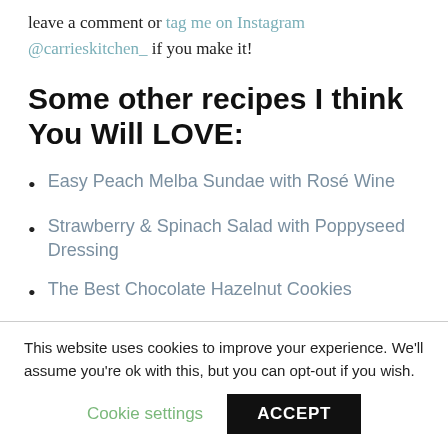leave a comment or tag me on Instagram @carrieskitchen_ if you make it!
Some other recipes I think You Will LOVE:
Easy Peach Melba Sundae with Rosé Wine
Strawberry & Spinach Salad with Poppyseed Dressing
The Best Chocolate Hazelnut Cookies
This website uses cookies to improve your experience. We'll assume you're ok with this, but you can opt-out if you wish.
Cookie settings   ACCEPT